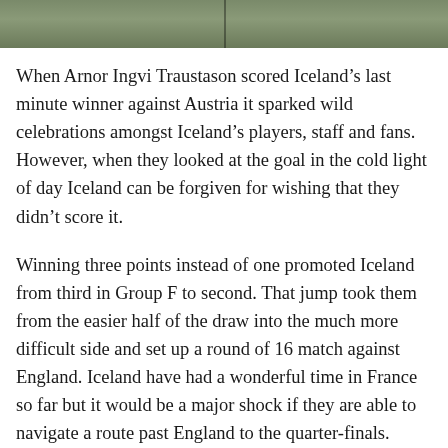[Figure (photo): A photograph showing what appears to be a sports/outdoor scene, partially visible at the top of the page, with green/grey tones.]
When Arnor Ingvi Traustason scored Iceland’s last minute winner against Austria it sparked wild celebrations amongst Iceland’s players, staff and fans. However, when they looked at the goal in the cold light of day Iceland can be forgiven for wishing that they didn’t score it.
Winning three points instead of one promoted Iceland from third in Group F to second. That jump took them from the easier half of the draw into the much more difficult side and set up a round of 16 match against England. Iceland have had a wonderful time in France so far but it would be a major shock if they are able to navigate a route past England to the quarter-finals.
England have not yet hit top gear at the European Championships but they are not too disheartened with their performances. Manager Roy Hodgson believes that his team have lacked a little bit of luck in front of goal and they dominated the games against Russia, Wales and Slovakia.